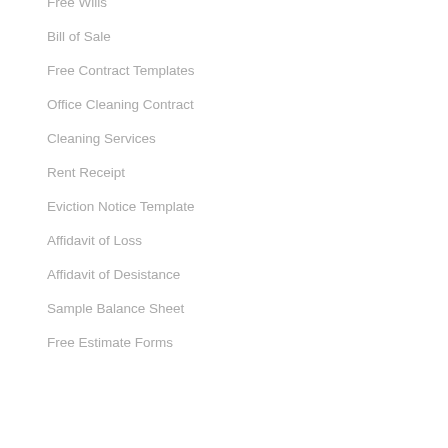Free Wills
Bill of Sale
Free Contract Templates
Office Cleaning Contract
Cleaning Services
Rent Receipt
Eviction Notice Template
Affidavit of Loss
Affidavit of Desistance
Sample Balance Sheet
Free Estimate Forms